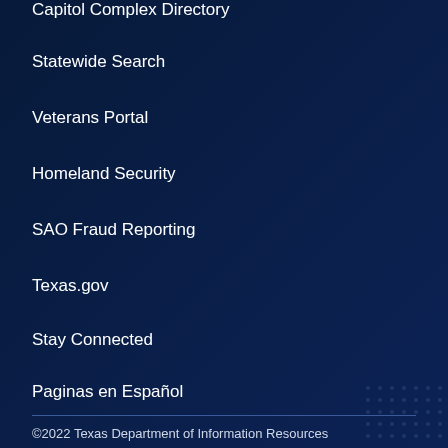Capitol Complex Directory
Statewide Search
Veterans Portal
Homeland Security
SAO Fraud Reporting
Texas.gov
Stay Connected
Paginas en Español
©2022 Texas Department of Information Resources
Privacy & Site Policies